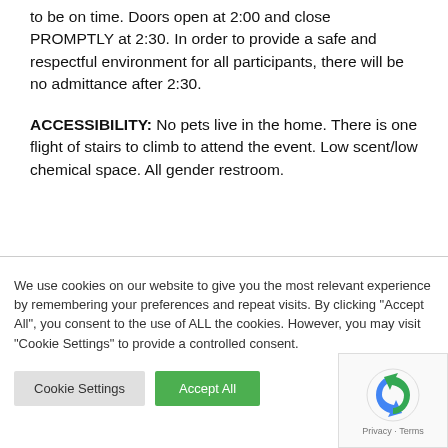to be on time. Doors open at 2:00 and close PROMPTLY at 2:30. In order to provide a safe and respectful environment for all participants, there will be no admittance after 2:30.
ACCESSIBILITY: No pets live in the home. There is one flight of stairs to climb to attend the event. Low scent/low chemical space. All gender restroom.
We use cookies on our website to give you the most relevant experience by remembering your preferences and repeat visits. By clicking "Accept All", you consent to the use of ALL the cookies. However, you may visit "Cookie Settings" to provide a controlled consent.